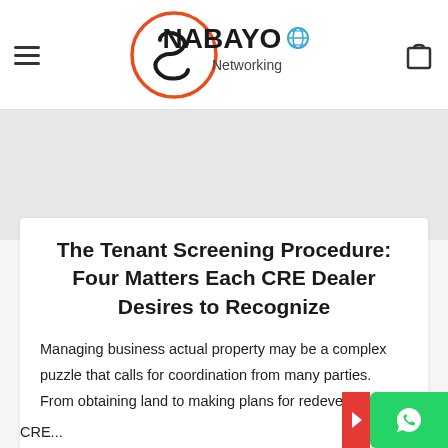Nabayo Networking — website header with logo, hamburger menu, and cart icon
The Tenant Screening Procedure: Four Matters Each CRE Dealer Desires to Recognize
Managing business actual property may be a complex puzzle that calls for coordination from many parties. From obtaining land to making plans for redevelopment to locating the proper customers, business actual property is a large enterprise.
CRE...